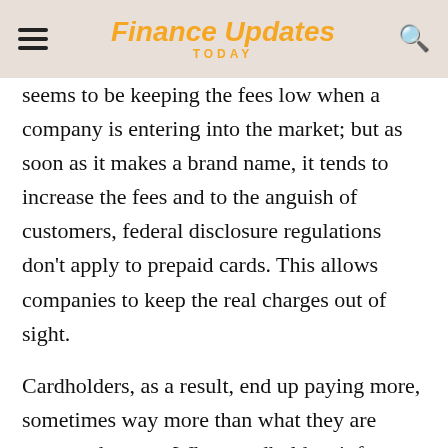Finance Updates TODAY
seems to be keeping the fees low when a company is entering into the market; but as soon as it makes a brand name, it tends to increase the fees and to the anguish of customers, federal disclosure regulations don't apply to prepaid cards. This allows companies to keep the real charges out of sight.
Cardholders, as a result, end up paying more, sometimes way more than what they are supposed to pay. When cardholders inform the companies about the hidden charges, the customer service department disconnects their call or put them on waiting for so long that they themselves end the call. Majority of customers don't complain to the Consumer Financial